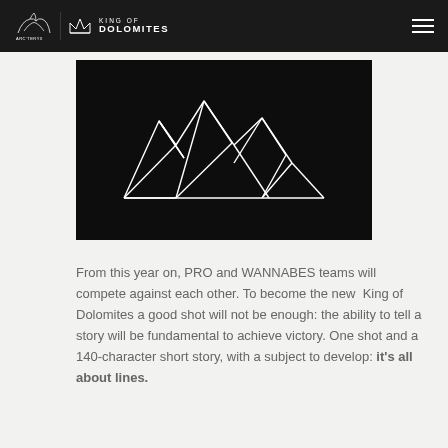Arc'teryx King of Dolomites
[Figure (logo): King of Dolomites geometric crown logo — white line drawing of mountain peaks forming a crown shape on a black background]
From this year on, PRO and WANNABES teams will compete against each other. To become the new King of Dolomites a good shot will not be enough: the ability to tell a story will be fundamental to achieve victory. One shot and a 140-character short story, with a subject to develop: it's all about lines.